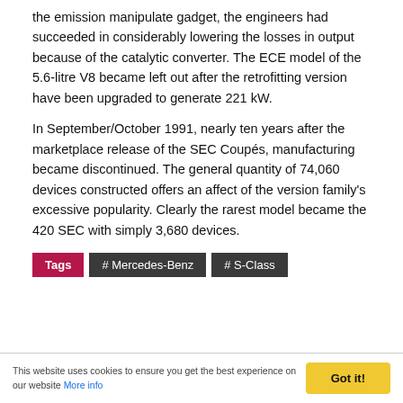the emission manipulate gadget, the engineers had succeeded in considerably lowering the losses in output because of the catalytic converter. The ECE model of the 5.6-litre V8 became left out after the retrofitting version have been upgraded to generate 221 kW.
In September/October 1991, nearly ten years after the marketplace release of the SEC Coupés, manufacturing became discontinued. The general quantity of 74,060 devices constructed offers an affect of the version family's excessive popularity. Clearly the rarest model became the 420 SEC with simply 3,680 devices.
Tags #Mercedes-Benz #S-Class
This website uses cookies to ensure you get the best experience on our website More info